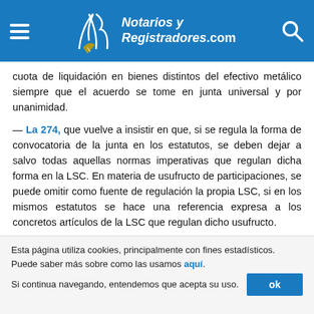Notarios y Registradores.com
cuota de liquidación en bienes distintos del efectivo metálico siempre que el acuerdo se tome en junta universal y por unanimidad.
— La 274, que vuelve a insistir en que, si se regula la forma de convocatoria de la junta en los estatutos, se deben dejar a salvo todas aquellas normas imperativas que regulan dicha forma en la LSC. En materia de usufructo de participaciones, se puede omitir como fuente de regulación la propia LSC, si en los mismos estatutos se hace una referencia expresa a los concretos artículos de la LSC que regulan dicho usufructo.
Esta página utiliza cookies, principalmente con fines estadísticos. Puede saber más sobre como las usamos aquí. Si continua navegando, entendemos que acepta su uso. ok